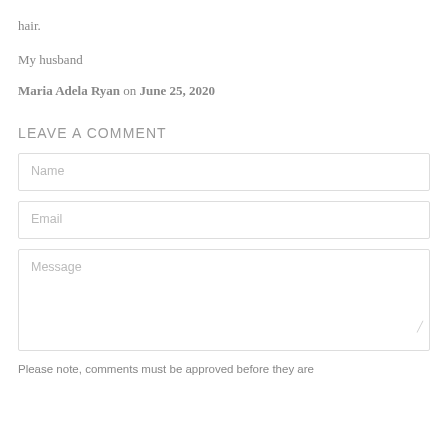hair.
My husband
Maria Adela Ryan on June 25, 2020
LEAVE A COMMENT
Name
Email
Message
Please note, comments must be approved before they are